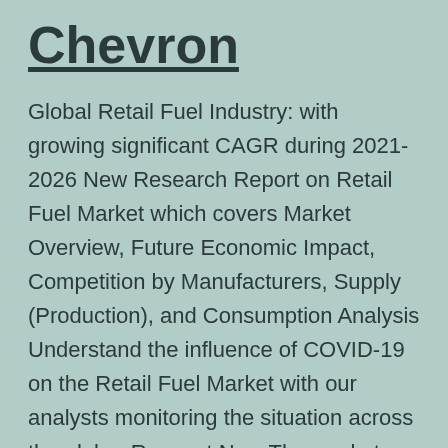Chevron
Global Retail Fuel Industry: with growing significant CAGR during 2021-2026 New Research Report on Retail Fuel Market which covers Market Overview, Future Economic Impact, Competition by Manufacturers, Supply (Production), and Consumption Analysis Understand the influence of COVID-19 on the Retail Fuel Market with our analysts monitoring the situation across the globe. Request Now The market… Continue reading